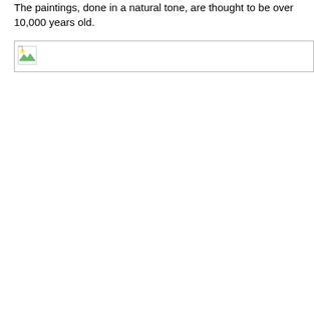The paintings, done in a natural tone, are thought to be over 10,000 years old.
[Figure (photo): Broken/missing image placeholder icon with border]